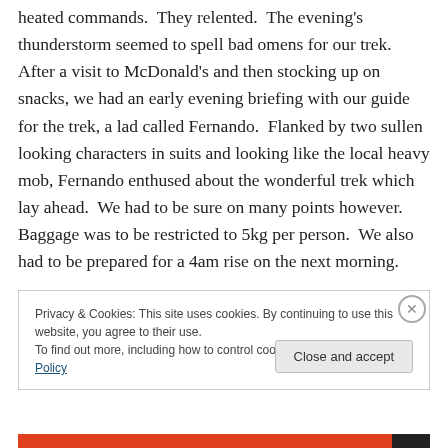heated commands.  They relented.  The evening's thunderstorm seemed to spell bad omens for our trek.  After a visit to McDonald's and then stocking up on snacks, we had an early evening briefing with our guide for the trek, a lad called Fernando.  Flanked by two sullen looking characters in suits and looking like the local heavy mob, Fernando enthused about the wonderful trek which lay ahead.  We had to be sure on many points however.  Baggage was to be restricted to 5kg per person.  We also had to be prepared for a 4am rise on the next morning.
Privacy & Cookies: This site uses cookies. By continuing to use this website, you agree to their use.
To find out more, including how to control cookies, see here: Cookie Policy